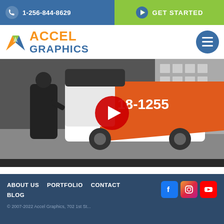1-256-844-8629 | GET STARTED
[Figure (logo): Accel Graphics logo with colorful A icon and orange/blue text]
[Figure (screenshot): YouTube video thumbnail showing vehicle wrap installation in progress — a man in black applying an orange/white wrap to a truck with number 18-1255 visible. Red YouTube play button overlay in center.]
ABOUT US  PORTFOLIO  CONTACT  BLOG  | Social icons: Facebook, Instagram, YouTube | © 2007-2022 Accel Graphics, 702 1st St...